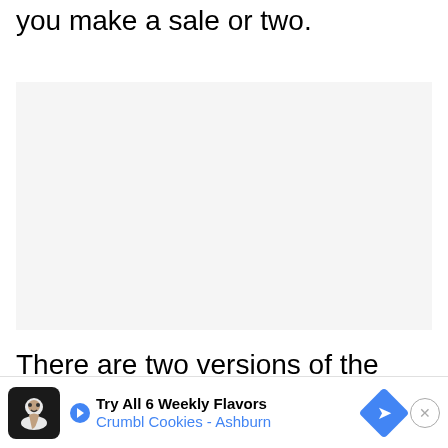you make a sale or two.
[Figure (other): Light gray rectangular placeholder image area]
There are two versions of the desktop
Light
[Figure (other): Advertisement banner: Try All 6 Weekly Flavors - Crumbl Cookies - Ashburn with cookie logo and navigation arrow badge]